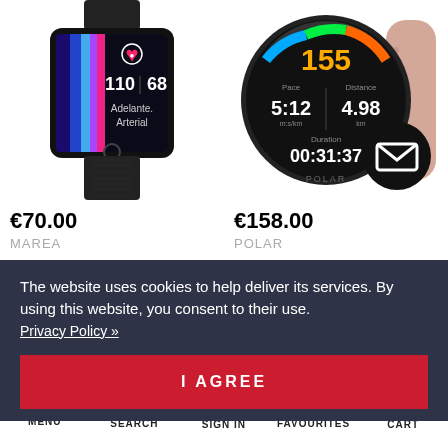[Figure (photo): Marea smartwatch with colorful display showing heart rate 110/68 and text 'Adelante Arterial', black mesh band]
€70.00
MAREA
[Figure (photo): Polar smartwatch with round black face showing 155, pace 5:12, distance 4.98km, duration 00:31:37, with pink band and email notification icon]
€158.00
POLAR
The website uses cookies to help deliver its services. By using this website, you consent to their use. Privacy Policy »
I AGREE
MENU  SEARCH  SIGN IN  FAVOURITES  CART